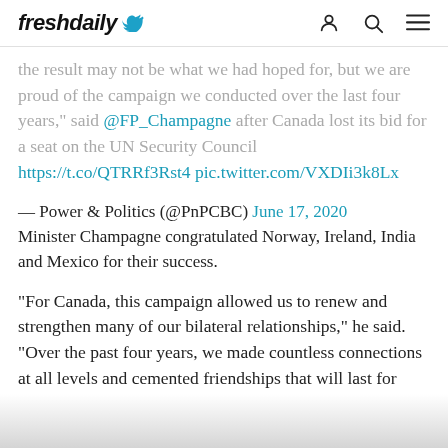freshdaily
...the result may not be what we had hoped for, but we are proud of the campaign we conducted over the last four years," said @FP_Champagne after Canada lost its bid for a seat on the UN Security Council https://t.co/QTRRf3Rst4 pic.twitter.com/VXDIi3k8Lx
— Power & Politics (@PnPCBC) June 17, 2020
Minister Champagne congratulated Norway, Ireland, India and Mexico for their success.
"For Canada, this campaign allowed us to renew and strengthen many of our bilateral relationships," he said. "Over the past four years, we made countless connections at all levels and cemented friendships that will last for generations."